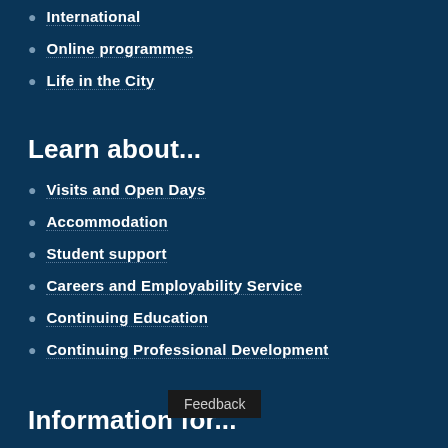International
Online programmes
Life in the City
Learn about...
Visits and Open Days
Accommodation
Student support
Careers and Employability Service
Continuing Education
Continuing Professional Development
Information for...
International students
Mature students and access courses
Parents and supporters